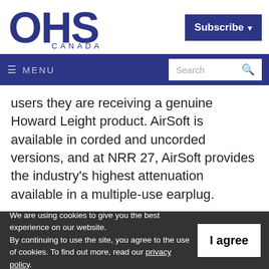[Figure (logo): OHS Canada logo — dark navy blue letters OHS large, CANADA smaller below, circular cutout in O]
[Figure (screenshot): Subscribe button with dropdown arrow, dark navy background, white text]
≡ MENU    Search 🔍
users they are receiving a genuine Howard Leight product. AirSoft is available in corded and uncorded versions, and at NRR 27, AirSoft provides the industry's highest attenuation available in a multiple-use earplug.
We are using cookies to give you the best experience on our website. By continuing to use the site, you agree to the use of cookies. To find out more, read our privacy policy.
I agree